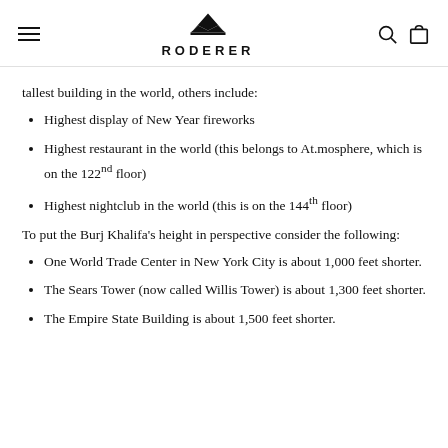RODERER (logo with crown, hamburger menu, search and bag icons)
tallest building in the world, others include:
Highest display of New Year fireworks
Highest restaurant in the world (this belongs to At.mosphere, which is on the 122nd floor)
Highest nightclub in the world (this is on the 144th floor)
To put the Burj Khalifa's height in perspective consider the following:
One World Trade Center in New York City is about 1,000 feet shorter.
The Sears Tower (now called Willis Tower) is about 1,300 feet shorter.
The Empire State Building is about 1,500 feet shorter.